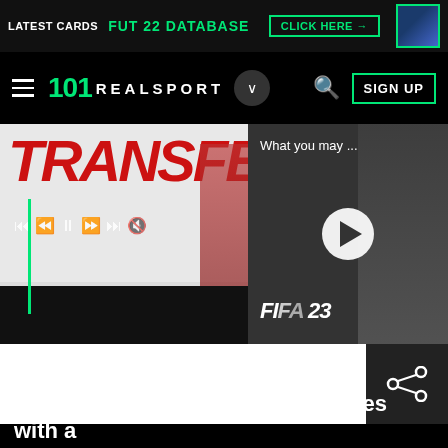LATEST CARDS  FUT 22 DATABASE  CLICK HERE →
101 REALSPORT  SIGN UP
[Figure (screenshot): Transfer news banner image with large red italic TRANSFE text and media playback controls, showing a soccer player, and a video preview panel with 'What you may...' label, play button, and FIFA 23 branding]
13:00  Rare: Building Sea of Thieves with a